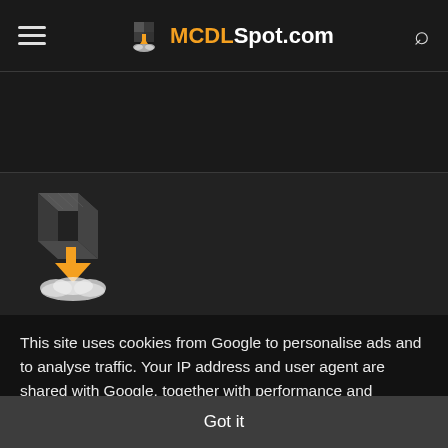MCDLSpot.com
[Figure (logo): MCDLSpot.com logo with Minecraft-style block and download arrow icon, hamburger menu on left, search icon on right]
[Figure (illustration): Minecraft block with orange download arrow and white cloud/smoke below]
This site uses cookies from Google to personalise ads and to analyse traffic. Your IP address and user agent are shared with Google, together with performance and security metrics, to ensure quality of service, generate usage statistics and to detect abuse. Learn more
Got it